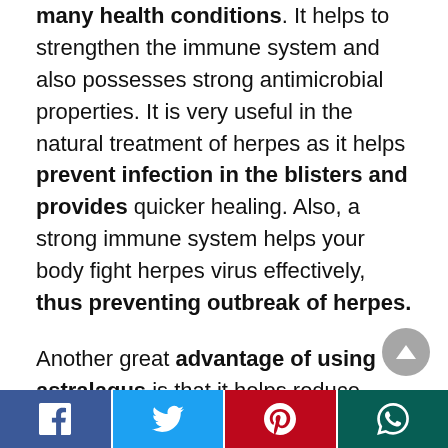many health conditions. It helps to strengthen the immune system and also possesses strong antimicrobial properties. It is very useful in the natural treatment of herpes as it helps prevent infection in the blisters and provides quicker healing. Also, a strong immune system helps your body fight herpes virus effectively, thus preventing outbreak of herpes.
Another great advantage of using astralagus is that it helps reduce emotional and physical stress which are the main factors in causing herpes outbreak. An herbal tea prepared using astralagus roots should be taken daily in order to prevent